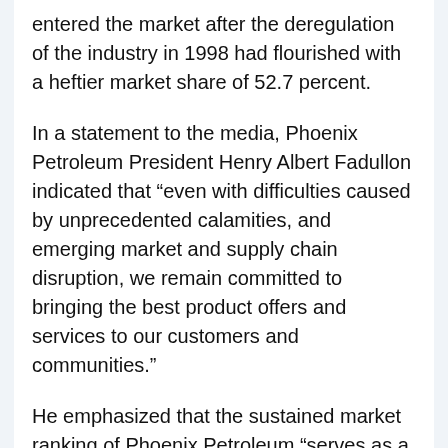entered the market after the deregulation of the industry in 1998 had flourished with a heftier market share of 52.7 percent.
In a statement to the media, Phoenix Petroleum President Henry Albert Fadullon indicated that “even with difficulties caused by unprecedented calamities, and emerging market and supply chain disruption, we remain committed to bringing the best product offers and services to our customers and communities.”
He emphasized that the sustained market ranking of Phoenix Petroleum “serves as a testament to the strong resolve of our Phoenix team in driving growth by providing exceptional value at any level.”